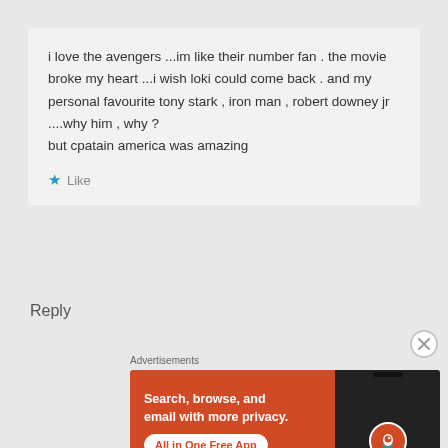i love the avengers ...im like their number fan . the movie broke my heart ...i wish loki could come back . and my personal favourite tony stark , iron man , robert downey jr ....why him , why ?
but cpatain america was amazing
★ Like
Reply
Advertisements
[Figure (screenshot): DuckDuckGo advertisement banner with orange background. Text reads: Search, browse, and email with more privacy. All in One Free App. Shows a phone with DuckDuckGo logo.]